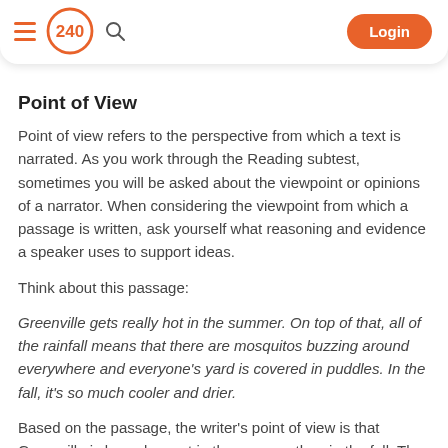[Figure (logo): Navigation header with hamburger menu, '240' logo in orange circle, search icon, and orange Login button]
Point of View
Point of view refers to the perspective from which a text is narrated. As you work through the Reading subtest, sometimes you will be asked about the viewpoint or opinions of a narrator. When considering the viewpoint from which a passage is written, ask yourself what reasoning and evidence a speaker uses to support ideas.
Think about this passage:
Greenville gets really hot in the summer. On top of that, all of the rainfall means that there are mosquitos buzzing around everywhere and everyone's yard is covered in puddles. In the fall, it's so much cooler and drier.
Based on the passage, the writer's point of view is that Greenville is less pleasant in the summer than in the fall. The